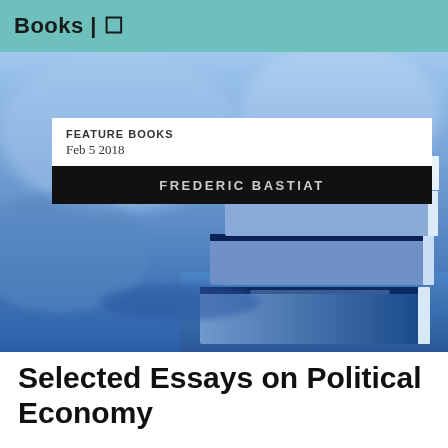Books | □
[Figure (photo): Stack of blue books photographed close-up with blurred background in blue tones]
FEATURE BOOKS
Feb 5 2018
FREDERIC BASTIAT
Selected Essays on Political Economy